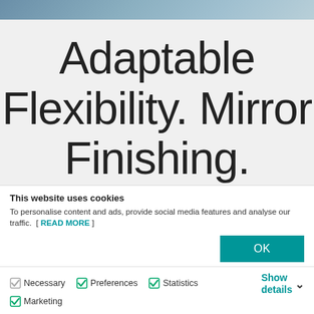[Figure (photo): Hero banner image with a blurred blue/grey background at the top of the page]
Adaptable Flexibility. Mirror Finishing.
Any size. Any configuration. On any
This website uses cookies
To personalise content and ads, provide social media features and analyse our traffic. [ READ MORE ]
OK
Necessary  Preferences  Statistics  Marketing  Show details